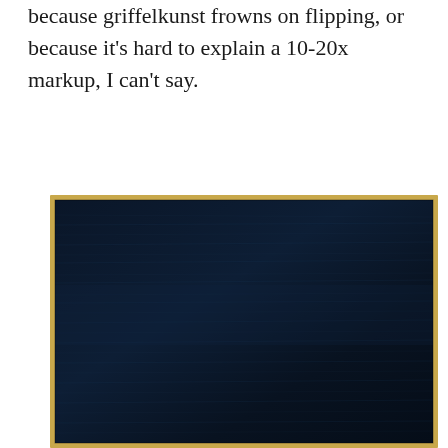because griffelkunst frowns on flipping, or because it's hard to explain a 10-20x markup, I can't say.
[Figure (photo): A large dark painting — nearly black with deep navy blue brushstroke texture — in a thin gold/gilded frame, photographed against a white background.]